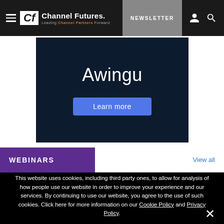Channel Futures - Leading Channel Partners Forward | NEWSLETTER
[Figure (illustration): Awingu advertisement banner with dark navy background, showing 'Awingu' text and a blue 'Learn more' button]
WEBINARS
View all
This website uses cookies, including third party ones, to allow for analysis of how people use our website in order to improve your experience and our services. By continuing to use our website, you agree to the use of such cookies. Click here for more information on our Cookie Policy and Privacy Policy.